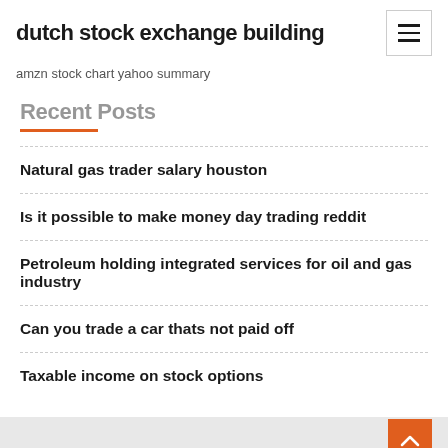dutch stock exchange building
amzn stock chart yahoo summary
Natural gas trader salary houston
Is it possible to make money day trading reddit
Petroleum holding integrated services for oil and gas industry
Can you trade a car thats not paid off
Taxable income on stock options